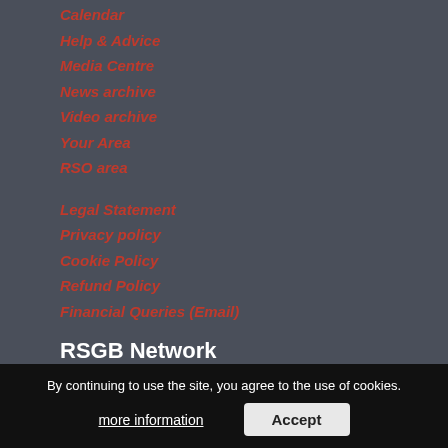Calendar
Help & Advice
Media Centre
News archive
Video archive
Your Area
RSO area
Legal Statement
Privacy policy
Cookie Policy
Refund Policy
Financial Queries (Email)
RSGB Network
Road Safety GB Academy
Road Safety Knowledge Centre
RSGB International
National Road Safety Conference
By continuing to use the site, you agree to the use of cookies.
more information
Accept